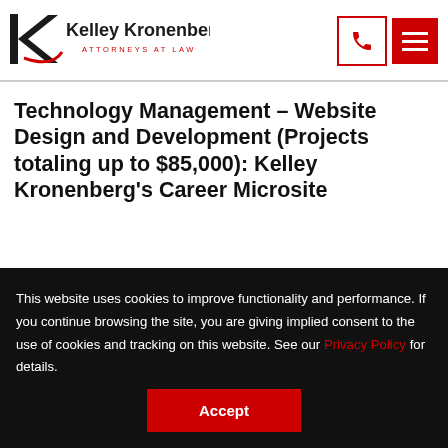[Figure (logo): Kelley Kronenberg Attorneys at Law logo with stylized K lettermark in black and red]
Technology Management – Website Design and Development (Projects totaling up to $85,000): Kelley Kronenberg's Career Microsite
This website uses cookies to improve functionality and performance. If you continue browsing the site, you are giving implied consent to the use of cookies and tracking on this website. See our Privacy Policy for details.
Accept